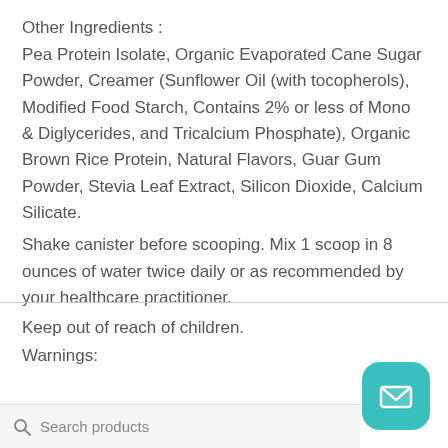Other Ingredients :
Pea Protein Isolate, Organic Evaporated Cane Sugar Powder, Creamer (Sunflower Oil (with tocopherols), Modified Food Starch, Contains 2% or less of Mono & Diglycerides, and Tricalcium Phosphate), Organic Brown Rice Protein, Natural Flavors, Guar Gum Powder, Stevia Leaf Extract, Silicon Dioxide, Calcium Silicate.
Shake canister before scooping. Mix 1 scoop in 8 ounces of water twice daily or as recommended by your healthcare practitioner.
Keep out of reach of children.
Warnings:
[Figure (screenshot): Website bottom navigation bar with user account icon, search icon, and shopping cart icon with badge showing 1 item. Also shows a teal email/contact button and a search products bar.]